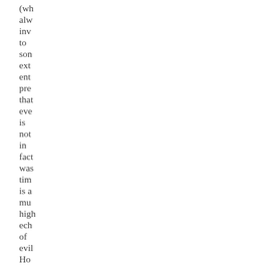(wh alw inv to son ext ent pre that eve is not in fact was tim is a mu high ech of evil Ho